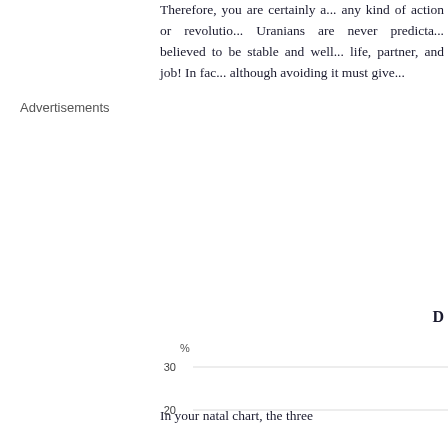Therefore, you are certainly a... any kind of action or revolutio... Uranians are never predicta... believed to be stable and well... life, partner, and job! In fac... although avoiding it must give...
Advertisements
D
[Figure (bar-chart): D]
In your natal chart, the three